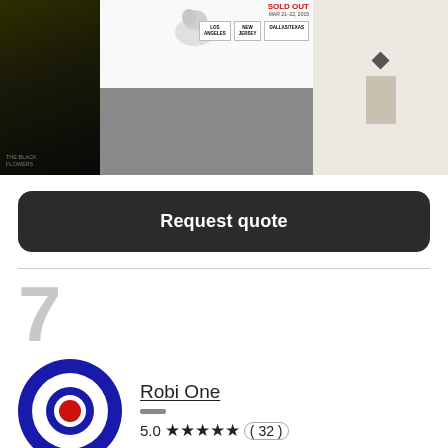[Figure (screenshot): Three thumbnail images side by side: a dark poster on the left, a concert ticket/sold-out flyer in the middle with a gray banner below, and a light-colored tote bag on the right.]
Request quote
7
[Figure (logo): Bullseye/target logo with blue outer ring, white middle ring, and red center circle — Robi One provider logo]
Robi One
5.0 ★★★★★ ( 32 )
Poster
Signage
Book cover
Postcard, flyer or print